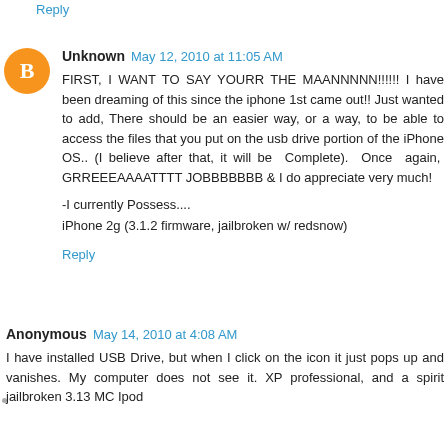Reply
Unknown  May 12, 2010 at 11:05 AM
FIRST, I WANT TO SAY YOURR THE MAANNNNN!!!!!!  I have been dreaming of this since the iphone 1st came out!! Just wanted to add, There should be an easier way, or a way, to be able to access the files that you put on the usb drive portion of the iPhone OS.. (I believe after that, it will be Complete). Once again, GRREEEAAAATTTT JOBBBBBBB & I do appreciate very much!

-I currently Possess....
iPhone 2g (3.1.2 firmware, jailbroken w/ redsnow)
Reply
Anonymous  May 14, 2010 at 4:08 AM
I have installed USB Drive, but when I click on the icon it just pops up and vanishes. My computer does not see it. XP professional, and a spirit jailbroken 3.13 MC Ipod